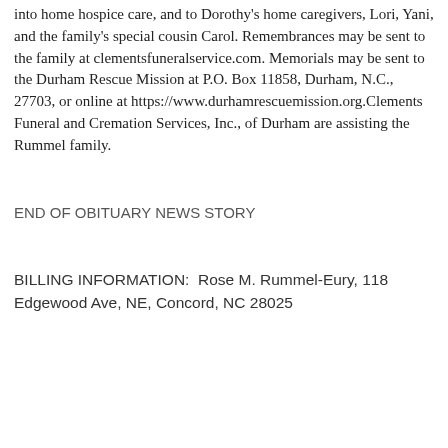into home hospice care, and to Dorothy's home caregivers, Lori, Yani, and the family's special cousin Carol. Remembrances may be sent to the family at clementsfuneralservice.com. Memorials may be sent to the Durham Rescue Mission at P.O. Box 11858, Durham, N.C., 27703, or online at https://www.durhamrescuemission.org.Clements Funeral and Cremation Services, Inc., of Durham are assisting the Rummel family.
END OF OBITUARY NEWS STORY
BILLING INFORMATION:  Rose M. Rummel-Eury, 118 Edgewood Ave, NE, Concord, NC 28025